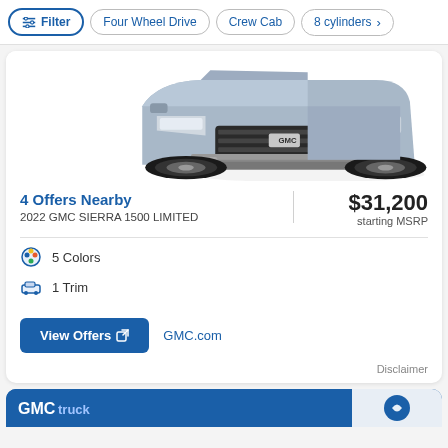Filter
Four Wheel Drive
Crew Cab
8 cylinders
[Figure (photo): Front view of a silver/blue 2022 GMC Sierra 1500 Limited truck]
4 Offers Nearby
2022 GMC SIERRA 1500 LIMITED
$31,200
starting MSRP
5 Colors
1 Trim
View Offers
GMC.com
Disclaimer